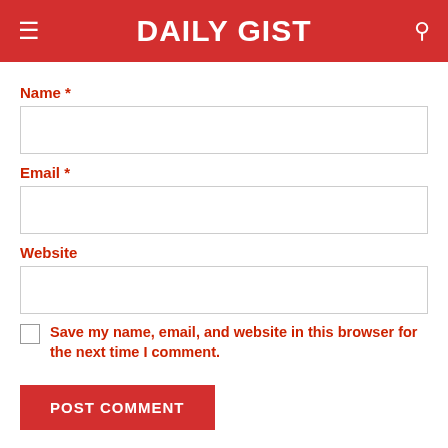DAILY GIST
Name *
Email *
Website
Save my name, email, and website in this browser for the next time I comment.
POST COMMENT